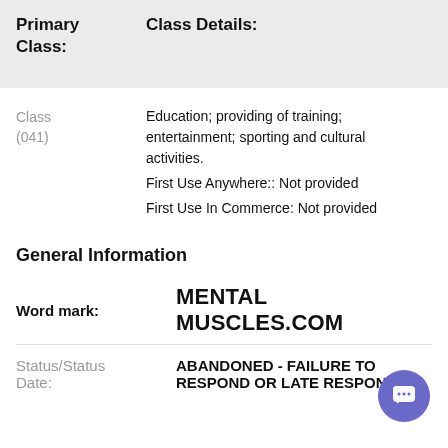Primary Class:   Class Details:
Class (041)   Education; providing of training; entertainment; sporting and cultural activities.
First Use Anywhere:: Not provided
First Use In Commerce: Not provided
General Information
Word mark:   MENTAL MUSCLES.COM
Status/Status Date:   ABANDONED - FAILURE TO RESPOND OR LATE RESPONSE